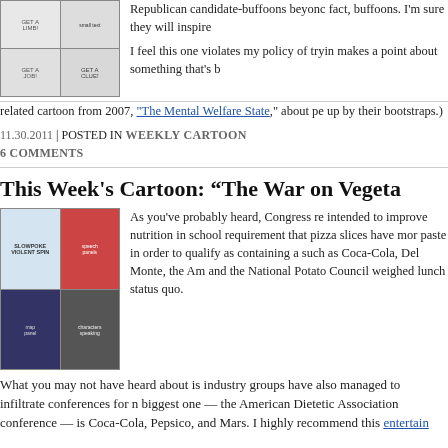[Figure (illustration): Comic strip panels showing figures with signs saying GET A LIMB, GET A JOB, GET A CLUE]
Republican candidate-buffoons beyond the fact, buffoons. I'm sure they will inspire I feel this one violates my policy of trying makes a point about something that's b related cartoon from 2007, "The Mental Welfare State," about pe up by their bootstraps.)
11.30.2011 | POSTED IN WEEKLY CARTOON
6 COMMENTS
This Week's Cartoon: “The War on Vegeta
[Figure (illustration): Comic strip SLOWPOKE - VIOLENT SPIN panels showing characters including woman with red background and man speaking]
As you've probably heard, Congress re intended to improve nutrition in school requirement that pizza slices have mor paste in order to qualify as containing a such as Coca-Cola, Del Monte, the Am and the National Potato Council weighed lunch status quo.
What you may not have heard about is industry groups have also managed to infiltrate conferences for n biggest one — the American Dietetic Association conference — is Coca-Cola, Pepsico, and Mars. I highly recommend this entertain